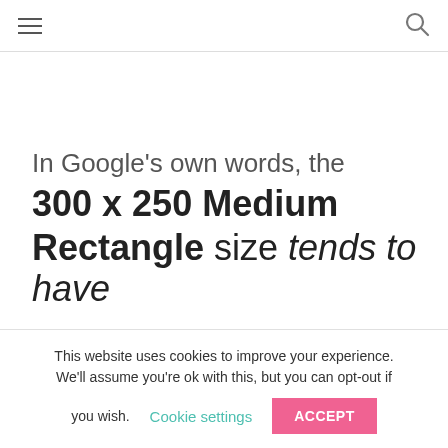≡ [hamburger menu] | [search icon]
In Google's own words, the 300 x 250 Medium Rectangle size tends to have
This website uses cookies to improve your experience. We'll assume you're ok with this, but you can opt-out if you wish. Cookie settings ACCEPT